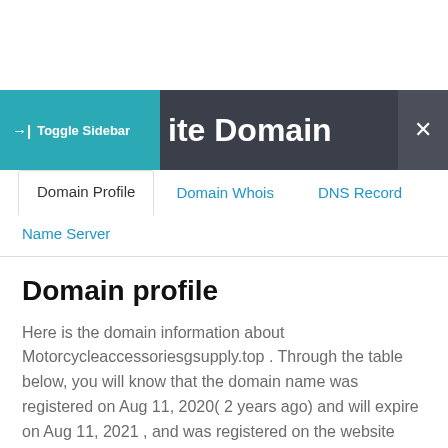→| Toggle Sidebar   Site Domain   ×
Domain Profile  Domain Whois  DNS Record  Name Server
Domain profile
Here is the domain information about Motorcycleaccessoriesgsupply.top . Through the table below, you will know that the domain name was registered on Aug 11, 2020( 2 years ago) and will expire on Aug 11, 2021 , and was registered on the website